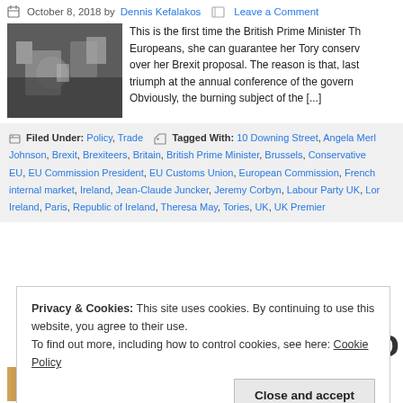October 8, 2018 by Dennis Kefalakos — Leave a Comment
[Figure (photo): Photo of a person surrounded by cameras and press photographers]
This is the first time the British Prime Minister Th... Europeans, she can guarantee her Tory conserv... over her Brexit proposal. The reason is that, last... triumph at the annual conference of the govern... Obviously, the burning subject of the [...]
Filed Under: Policy, Trade   Tagged With: 10 Downing Street, Angela Mer... Johnson, Brexit, Brexiteers, Britain, British Prime Minister, Brussels, Conservative... EU, EU Commission President, EU Customs Union, European Commission, French... internal market, Ireland, Jean-Claude Juncker, Jeremy Corbyn, Labour Party UK, Lor... Ireland, Paris, Republic of Ireland, Theresa May, Tories, UK, UK Premier
Privacy & Cookies: This site uses cookies. By continuing to use this website, you agree to their use.
To find out more, including how to control cookies, see here: Cookie Policy
Close and accept
Mozart, the last EU Summit which took place th...